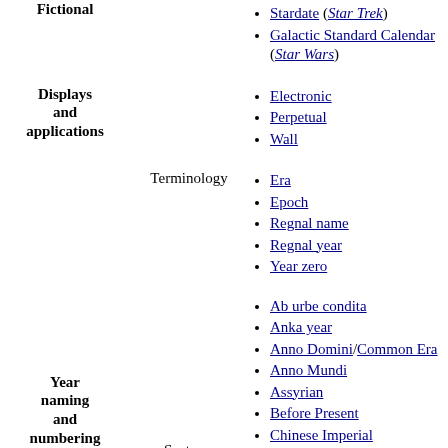Fictional
Stardate (Star Trek)
Galactic Standard Calendar (Star Wars)
Displays and applications
Electronic
Perpetual
Wall
Terminology
Era
Epoch
Regnal name
Regnal year
Year zero
Year naming and numbering
Ab urbe condita
Anka year
Anno Domini/Common Era
Anno Mundi
Assyrian
Before Present
Chinese Imperial
Chinese Minguo
English regnal year
Human (Holocene)
Systems
Japanese
Korean